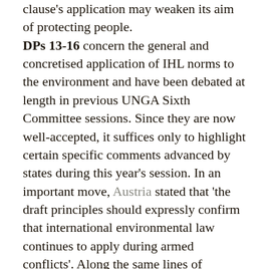clause's application may weaken its aim of protecting people.
DPs 13-16 concern the general and concretised application of IHL norms to the environment and have been debated at length in previous UNGA Sixth Committee sessions. Since they are now well-accepted, it suffices only to highlight certain specific comments advanced by states during this year's session. In an important move, Austria stated that 'the draft principles should expressly confirm that international environmental law continues to apply during armed conflicts'. Along the same lines of envisioning a complementary, protective role for IEL's application during armed